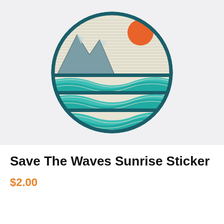[Figure (illustration): A circular sticker illustration showing a scenic landscape with mountains on the left, an orange sun in the upper right corner against horizontal line-hatched sky, and stylized teal/turquoise ocean waves in the lower half. The circle has a dark teal border. The sticker sits on a light gray background.]
Save The Waves Sunrise Sticker
$2.00